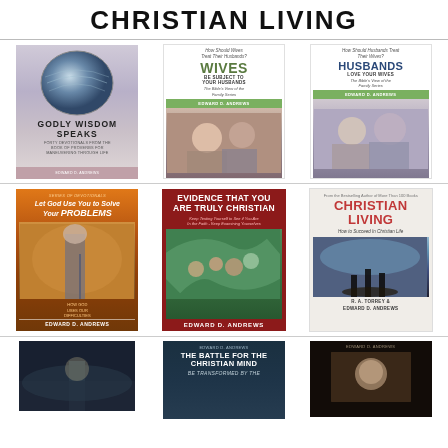CHRISTIAN LIVING
[Figure (photo): Book cover: GODLY WISDOM SPEAKS - Forty Devotionals from the Book of Proverbs for Maneuvering Through Life, with globe illustration]
[Figure (photo): Book cover: How Should Wives Treat Their Husbands? WIVES BE SUBJECT TO YOUR HUSBANDS - The Bible's View of the Family Series, Edward D. Andrews]
[Figure (photo): Book cover: How Should Husbands Treat Their Wives? HUSBANDS LOVE YOUR WIVES - The Bible's View of the Family Series, Edward D. Andrews]
[Figure (photo): Book cover: Let God Use You to Solve Your PROBLEMS, Edward D. Andrews]
[Figure (photo): Book cover: EVIDENCE THAT YOU ARE TRULY CHRISTIAN, Edward D. Andrews]
[Figure (photo): Book cover: CHRISTIAN LIVING - How to Succeed In Christian Life, R.A. Torrey & Edward D. Andrews]
[Figure (photo): Book cover: partial view, dark background]
[Figure (photo): Book cover: THE BATTLE FOR THE CHRISTIAN MIND BE TRANSFORMED BY THE..., Edward D. Andrews, teal/dark blue]
[Figure (photo): Book cover: partial view, dark brown background, Edward D. Andrews]